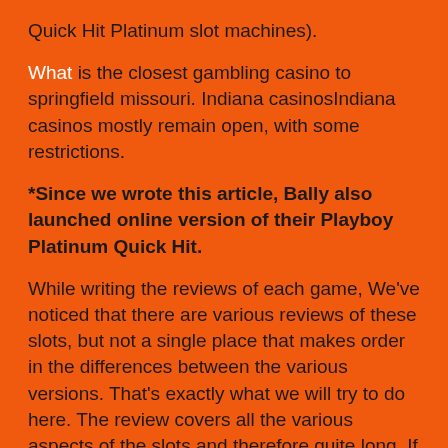Quick Hit Platinum slot machines).
What is the closest gambling casino to springfield missouri. Indiana casinosIndiana casinos mostly remain open, with some restrictions.
*Since we wrote this article, Bally also launched online version of their Playboy Platinum Quick Hit.
While writing the reviews of each game, We've noticed that there are various reviews of these slots, but not a single place that makes order in the differences between the various versions. That's exactly what we will try to do here. The review covers all the various aspects of the slots and therefore quite long. If you are looking just for a quick summary, feel free to scroll down to the table at the bottom of the page.
If you do know which one of them you are looking for